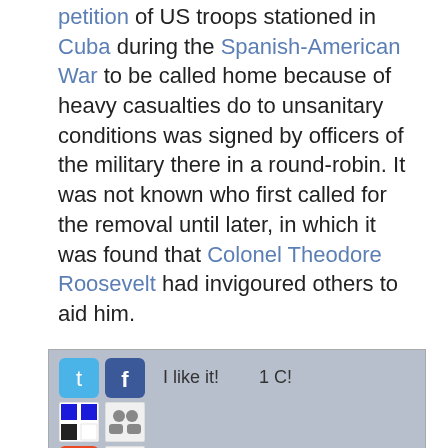petition of US troops stationed in Cuba during the Spanish-American War to be called home because of heavy casualties do to unsanitary conditions was signed by officers of the military there in a round-robin. It was not known who first called for the removal until later, in which it was found that Colonel Theodore Roosevelt had invigoured others to aid him.
[Figure (infographic): Social sharing bar with Twitter, Facebook, Delicious, a groups icon, StumbleUpon, Reddit icons, and 'I like it!' and '1 C!' buttons]